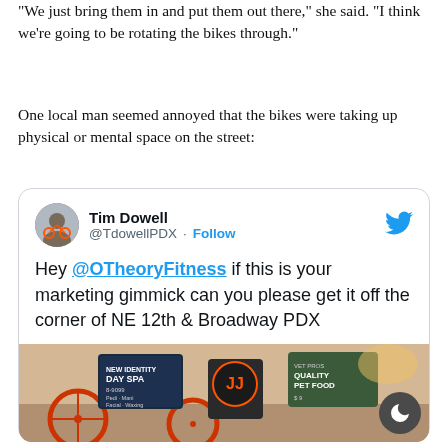"We just bring them in and put them out there," she said. "I think we're going to be rotating the bikes through."
One local man seemed annoyed that the bikes were taking up physical or mental space on the street:
[Figure (screenshot): Embedded tweet from Tim Dowell (@TdowellPDX) saying: Hey @OTheoryFitness if this is your marketing gimmick can you please get it off the corner of NE 12th & Broadway PDX, with a photo of bikes on a street corner with signs for businesses including New Identity Day Spa and Quality Pet Food.]